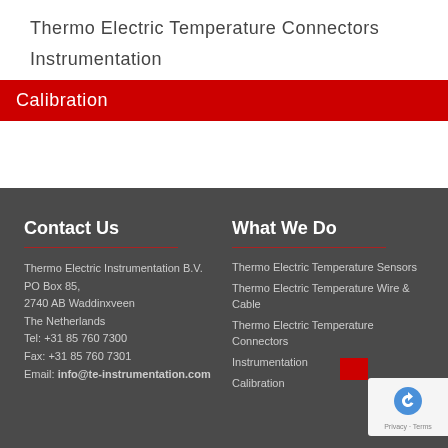Thermo Electric Temperature Connectors
Instrumentation
Calibration
Contact Us
Thermo Electric Instrumentation B.V.
PO Box 85,
2740 AB Waddinxveen
The Netherlands
Tel: +31 85 760 7300
Fax: +31 85 760 7301
Email: info@te-instrumentation.com
What We Do
Thermo Electric Temperature Sensors
Thermo Electric Temperature Wire & Cable
Thermo Electric Temperature Connectors
Instrumentation
Calibration